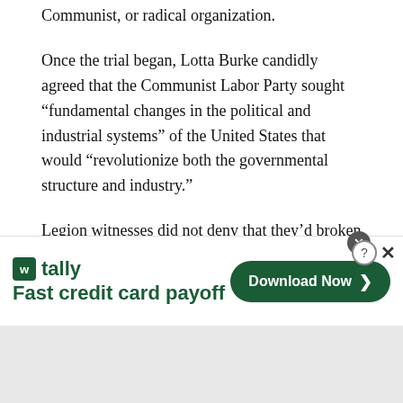Communist, or radical organization.
Once the trial began, Lotta Burke candidly agreed that the Communist Labor Party sought “fundamental changes in the political and industrial systems” of the United States that would “revolutionize both the governmental structure and industry.”
Legion witnesses did not deny that they’d broken into the Communist Labor Party offices or that they’d destroyed furniture and equipment while looking for the offensive literature they burned in the street. Instead, almost all legion testimony focused on the evils of Communism and
[Figure (screenshot): Advertisement banner for Tally app: 'Fast credit card payoff' with a 'Download Now' button]